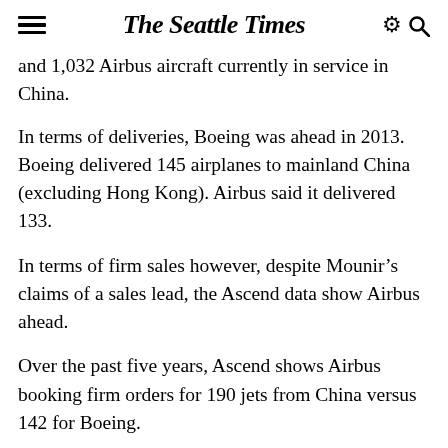The Seattle Times
and 1,032 Airbus aircraft currently in service in China.
In terms of deliveries, Boeing was ahead in 2013. Boeing delivered 145 airplanes to mainland China (excluding Hong Kong). Airbus said it delivered 133.
In terms of firm sales however, despite Mounir's claims of a sales lead, the Ascend data show Airbus ahead.
Over the past five years, Ascend shows Airbus booking firm orders for 190 jets from China versus 142 for Boeing.
Yet Mounir insists those firm-order figures don't reflect the significant tally of recent commitments to